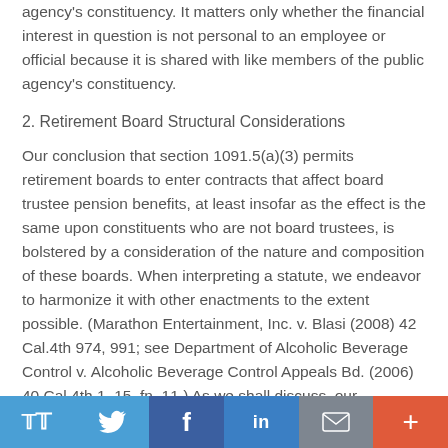agency's constituency. It matters only whether the financial interest in question is not personal to an employee or official because it is shared with like members of the public agency's constituency.
2. Retirement Board Structural Considerations
Our conclusion that section 1091.5(a)(3) permits retirement boards to enter contracts that affect board trustee pension benefits, at least insofar as the effect is the same upon constituents who are not board trustees, is bolstered by a consideration of the nature and composition of these boards. When interpreting a statute, we endeavor to harmonize it with other enactments to the extent possible. (Marathon Entertainment, Inc. v. Blasi (2008) 42 Cal.4th 974, 991; see Department of Alcoholic Beverage Control v. Alcoholic Beverage Control Appeals Bd. (2006) 40 Cal.4th 1, 15, fn. 11.) As we shall discuss, our interpretation avoids a